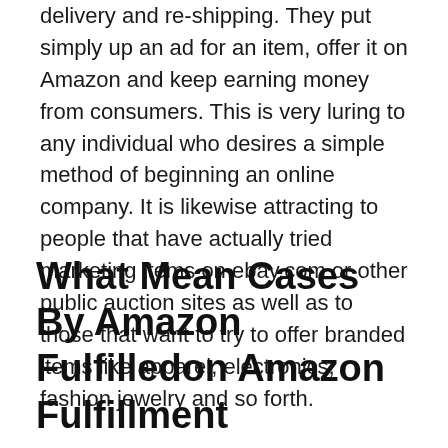delivery and re-shipping. They put simply up an ad for an item, offer it on Amazon and keep earning money from consumers. This is very luring to any individual who desires a simple method of beginning an online company. It is likewise attracting to people that have actually tried marketing items on ebay.com or other public auction sites as well as to those that want to try to offer branded items like apparel, electronics, fashion jewelry and so forth.
What Mean Cases By Amazon Fulfilledon Amazon Fulfillment